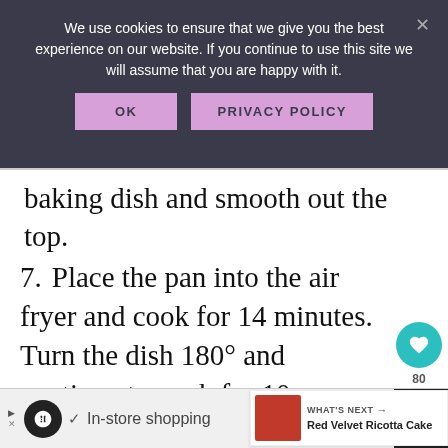We use cookies to ensure that we give you the best experience on our website. If you continue to use this site we will assume that you are happy with it.
OK   PRIVACY POLICY
baking dish and smooth out the top.
7. Place the pan into the air fryer and cook for 14 minutes. Turn the dish 180° and continue to cook for 10- more minutes until a toothpick inserted into the center co... clean.
[Figure (screenshot): Cookie consent banner with OK and PRIVACY POLICY buttons on dark background]
WHAT'S NEXT → Red Velvet Ricotta Cake
In-store shopping